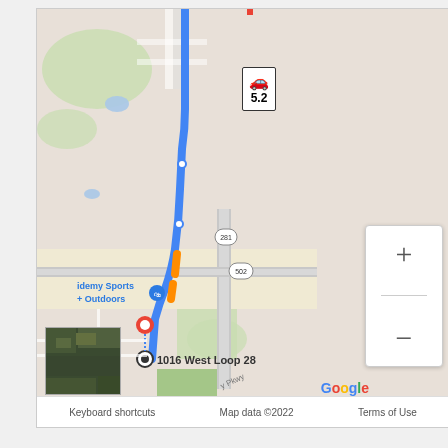[Figure (map): Google Maps screenshot showing a driving route (blue line) from a northern point to 1016 West Loop 281 in the Longview, TX area. The route passes through roads near Academy Sports + Outdoors. Route badges for roads 502 and 281 are visible. A driving distance badge shows a car icon and 5.2. A red destination pin and circular origin marker are shown. Zoom in/out controls are on the right. A satellite thumbnail is in the bottom-left corner. The footer shows: Keyboard shortcuts, Map data ©2022, Terms of Use. The Google logo appears above the footer.]